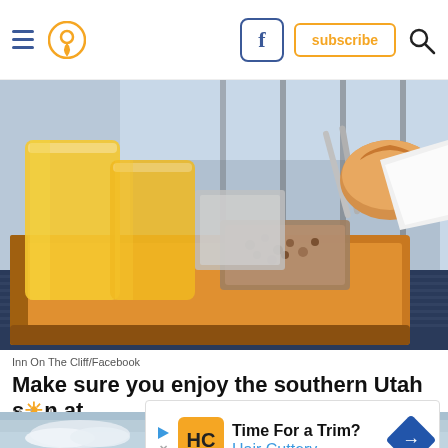Navigation bar with hamburger menu, location pin icon, Facebook button, subscribe button, and search icon
[Figure (photo): Breakfast tray photo: wooden tray with glasses of orange juice, granola, pastries, spoons, and napkin, on a woven dark surface with a window view of a city in the background (Inn On The Cliff/Facebook)]
Inn On The Cliff/Facebook
Make sure you enjoy the southern Utah sun at
this ho[tel and] [fi]nd enjoy[...]
[Figure (infographic): Advertisement overlay: Hair Cuttery ad - Time For a Trim? with HC logo and navigation arrow]
[Figure (photo): Bottom strip showing blue sky with clouds]